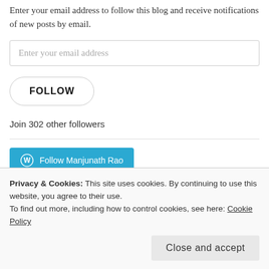Enter your email address to follow this blog and receive notifications of new posts by email.
Enter your email address
FOLLOW
Join 302 other followers
[Figure (other): Blue button with WordPress icon: Follow Manjunath Rao]
ARCHIVES
Privacy & Cookies: This site uses cookies. By continuing to use this website, you agree to their use.
To find out more, including how to control cookies, see here: Cookie Policy
Close and accept